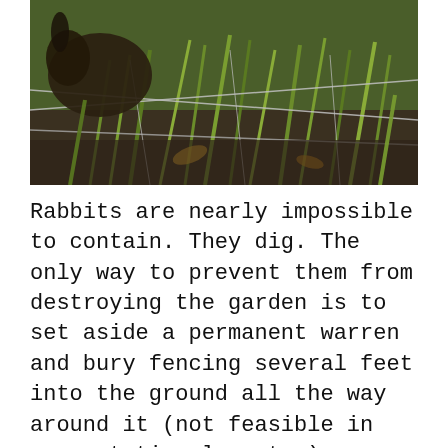[Figure (photo): A rabbit or small animal near green grass and wire fencing, photographed outdoors.]
Rabbits are nearly impossible to contain. They dig. The only way to prevent them from destroying the garden is to set aside a permanent warren and bury fencing several feet into the ground all the way around it (not feasible in our rotational system) or keep them in small wire cages. I don't have the stomach for cages, so we gave our rabbits away. If meat is your priority and you either have space for a warren or determination